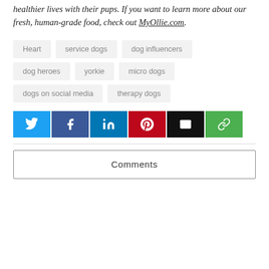healthier lives with their pups. If you want to learn more about our fresh, human-grade food, check out MyOllie.com.
Heart
service dogs
dog influencers
dog heroes
yorkie
micro dogs
dogs on social media
therapy dogs
[Figure (infographic): Social share buttons: Twitter (blue), Facebook (dark blue), LinkedIn (blue), Pinterest (red), Email (black), Link (green)]
Comments